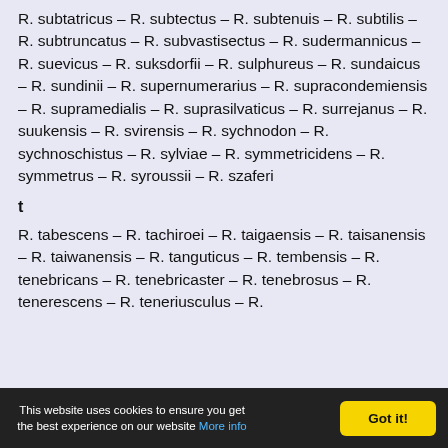R. subtatricus – R. subtectus – R. subtenuis – R. subtilis – R. subtruncatus – R. subvastisectus – R. sudermannicus – R. suevicus – R. suksdorfii – R. sulphureus – R. sundaicus – R. sundinii – R. supernumerarius – R. supracondemiensis – R. supramedialis – R. suprasilvaticus – R. surrejanus – R. suukensis – R. svirensis – R. sychnodon – R. sychnoschistus – R. sylviae – R. symmetricidens – R. symmetrus – R. syroussii – R. szaferi
t
R. tabescens – R. tachiroei – R. taigaensis – R. taisanensis – R. taiwanensis – R. tanguticus – R. tembensis – R. tenebricans – R. tenebricaster – R. tenebrosus – R. tenerescens – R. teneriusculus – R.